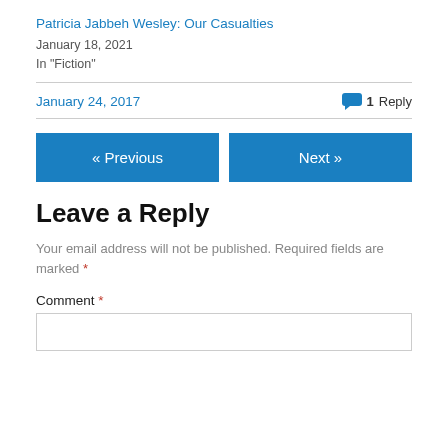Patricia Jabbeh Wesley: Our Casualties
January 18, 2021
In "Fiction"
January 24, 2017
1 Reply
« Previous
Next »
Leave a Reply
Your email address will not be published. Required fields are marked *
Comment *